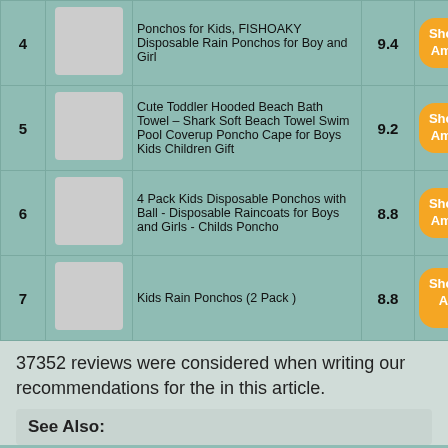| # | Image | Product | Score | Link |
| --- | --- | --- | --- | --- |
| 4 | [image] | Ponchos for Kids, FISHOAKY Disposable Rain Ponchos for Boy and Girl | 9.4 | Shop On Amazon |
| 5 | [image] | Cute Toddler Hooded Beach Bath Towel – Shark Soft Beach Towel Swim Pool Coverup Poncho Cape for Boys Kids Children Gift | 9.2 | Shop On Amazon |
| 6 | [image] | 4 Pack Kids Disposable Ponchos with Ball - Disposable Raincoats for Boys and Girls - Childs Poncho | 8.8 | Shop On Amazon |
| 7 | [image] | Kids Rain Ponchos (2 Pack ) | 8.8 | Shop On Amazon |
37352 reviews were considered when writing our recommendations for the in this article.
See Also:
Camo Clothing For Men
Pc For Men Skin Care